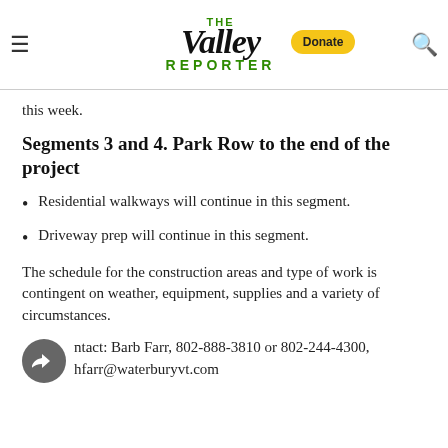The Valley Reporter
this week.
Segments 3 and 4. Park Row to the end of the project
Residential walkways will continue in this segment.
Driveway prep will continue in this segment.
The schedule for the construction areas and type of work is contingent on weather, equipment, supplies and a variety of circumstances.
Contact: Barb Farr, 802-888-3810 or 802-244-4300, hfarr@waterburyvt.com